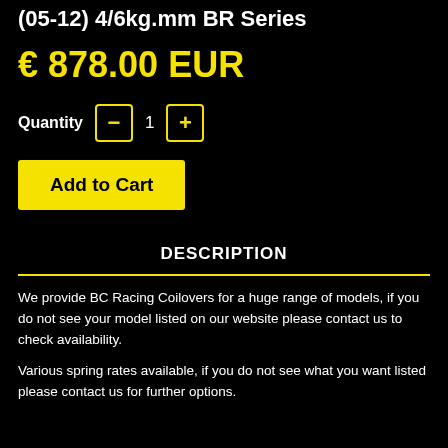(05-12) 4/6kg.mm BR Series
€ 878.00 EUR
Quantity  −  1  +
Add to Cart
DESCRIPTION
We provide BC Racing Coilovers for a huge range of models, if you do not see your model listed on our website please contact us to check availability.
Various spring rates available, if you do not see what you want listed please contact us for further options.